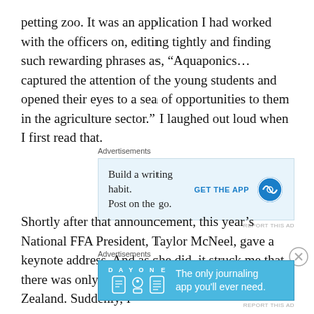petting zoo. It was an application I had worked with the officers on, editing tightly and finding such rewarding phrases as, “Aquaponics…captured the attention of the young students and opened their eyes to a sea of opportunities to them in the agriculture sector.” I laughed out loud when I first read that.
[Figure (screenshot): Advertisement box with light blue background: 'Build a writing habit. Post on the go.' with WordPress logo and 'GET THE APP' call to action]
Shortly after that announcement, this year’s National FFA President, Taylor McNeel, gave a keynote address. And as she did, it struck me that there was only one week until my flight to New Zealand. Suddenly, I
[Figure (screenshot): Advertisement box for Day One journaling app with blue background: 'The only journaling app you’ll ever need.']